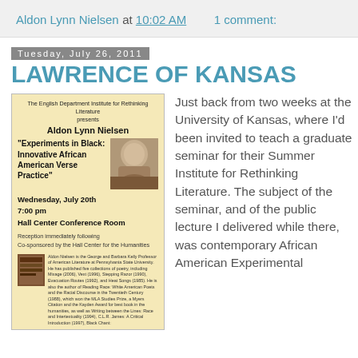Aldon Lynn Nielsen at 10:02 AM    1 comment:
Tuesday, July 26, 2011
LAWRENCE OF KANSAS
[Figure (infographic): Event flyer for The English Department Institute for Rethinking Literature presenting Aldon Lynn Nielsen lecture 'Experiments in Black: Innovative African American Verse Practice', Wednesday July 20th, 7:00 pm, Hall Center Conference Room. Includes photo of speaker and book image with bio text.]
Just back from two weeks at the University of Kansas, where I'd been invited to teach a graduate seminar for their Summer Institute for Rethinking Literature. The subject of the seminar, and of the public lecture I delivered while there, was contemporary African American Experimental